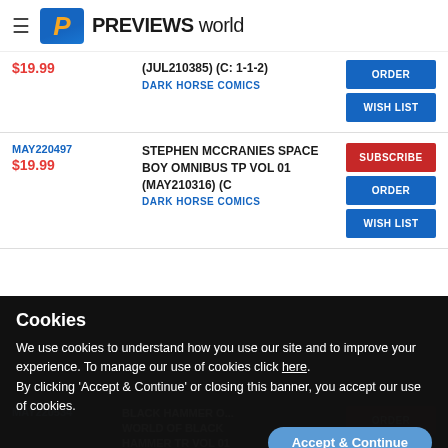PREVIEWS world
(JUL210385) (C: 1-1-2)
DARK HORSE COMICS
$19.99
ORDER
WISH LIST
MAY220497
$19.99
STEPHEN MCCRANIES SPACE BOY OMNIBUS TP VOL 01 (MAY210316) (C
DARK HORSE COMICS
SUBSCRIBE
ORDER
WISH LIST
Cookies
We use cookies to understand how you use our site and to improve your experience. To manage our use of cookies click here.
By clicking 'Accept & Continue' or closing this banner, you accept our use of cookies.
Accept & Continue
MAY220534
BLACK HAMMER O... WORLD OF BLACK HAMMER TR VOL 01